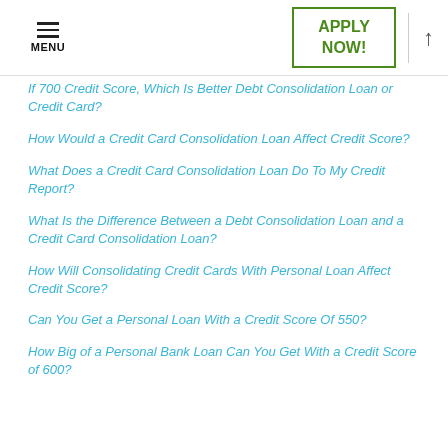MENU | APPLY NOW! | ↑
If 700 Credit Score, Which Is Better Debt Consolidation Loan or Credit Card?
How Would a Credit Card Consolidation Loan Affect Credit Score?
What Does a Credit Card Consolidation Loan Do To My Credit Report?
What Is the Difference Between a Debt Consolidation Loan and a Credit Card Consolidation Loan?
How Will Consolidating Credit Cards With Personal Loan Affect Credit Score?
Can You Get a Personal Loan With a Credit Score Of 550?
How Big of a Personal Bank Loan Can You Get With a Credit Score of 600?